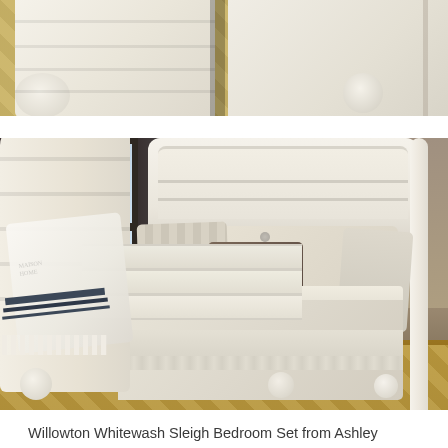[Figure (photo): Close-up partial view of a whitewash sleigh bed footboard with bun feet, on a patterned rug background]
[Figure (photo): Full view of the Willowton Whitewash Sleigh Bedroom Set from Ashley — a whitewash finish sleigh bed with curved headboard and footboard, bun feet, dressed with cream and tan bedding including decorative pillows and a throw blanket, set in a room with dark curtains and hardwood floors with a geometric rug]
Willowton Whitewash Sleigh Bedroom Set from Ashley